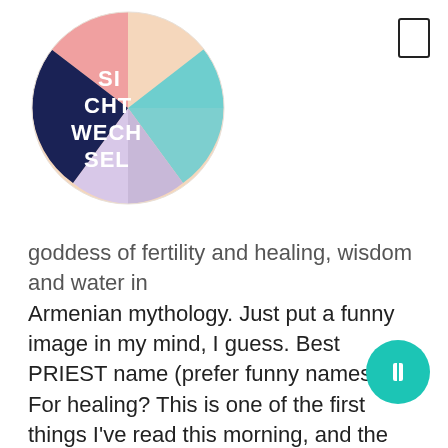[Figure (logo): Circular logo with colorful sections (pink, teal, navy blue, peach) containing the text 'SI CHT WECH EL' (SICHTWECHSEL) in white on the dark section]
goddess of fertility and healing, wisdom and water in Armenian mythology. Just put a funny image in my mind, I guess. Best PRIEST name (prefer funny names) ... For healing? This is one of the first things I've read this morning, and the Molag ones killed me XD, My wife, who is always forgetting things, has a Khajiit named " She who forgets ". Bob Meowerly. Droâjarsi; Tsalidasha Ana. Helem might not be common in the United States, but it is fairly normal to hear in Israel. Funny EQ names. The Dos and Donâts of Choosing a Funny Name: Here are some of the guidelines which can help developers generate funny names for their games. Lymah - Self-appointed